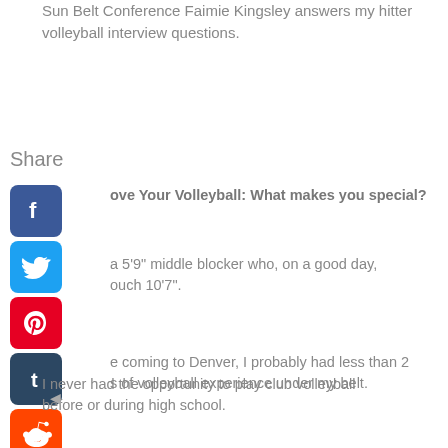Sun Belt Conference Faimie Kingsley answers my hitter volleyball interview questions.
Share
ove Your Volleyball: What makes you special?
a 5'9" middle blocker who, on a good day, ouch 10'7".
e coming to Denver, I probably had less than 2 s of volleyball experience under my belt.
I never had the opportunity to play club volleyball before or during high school.